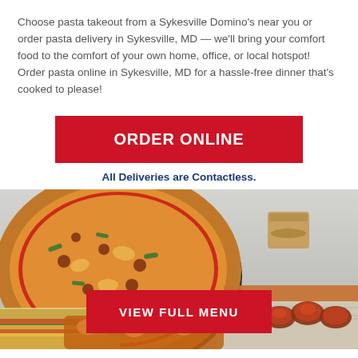Choose pasta takeout from a Sykesville Domino's near you or order pasta delivery in Sykesville, MD — we'll bring your comfort food to the comfort of your own home, office, or local hotspot! Order pasta online in Sykesville, MD for a hassle-free dinner that's cooked to please!
ORDER ONLINE
All Deliveries are Contactless.
[Figure (photo): Food photo showing a large pizza with toppings on a dark pan, a sandwich/wrap, and saucy chicken wings on foil, with a VIEW FULL MENU button overlaid in the center]